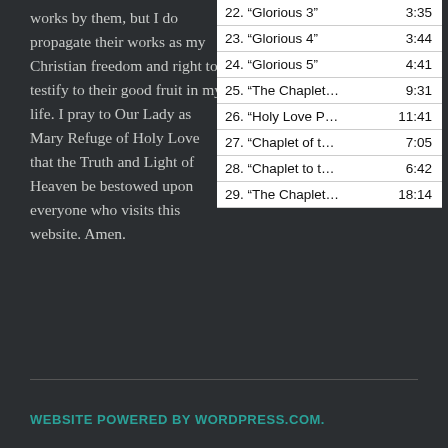works by them, but I do propagate their works as my Christian freedom and right to testify to their good fruit in my life. I pray to Our Lady as Mary Refuge of Holy Love that the Truth and Light of Heaven be bestowed upon everyone who visits this website. Amen.
| Track | Duration |
| --- | --- |
| 22. “Glorious 3” | 3:35 |
| 23. “Glorious 4” | 3:44 |
| 24. “Glorious 5” | 4:41 |
| 25. “The Chaplet... | 9:31 |
| 26. “Holy Love P... | 11:41 |
| 27. “Chaplet of t... | 7:05 |
| 28. “Chaplet to t... | 6:42 |
| 29. “The Chaplet... | 18:14 |
WEBSITE POWERED BY WORDPRESS.COM.